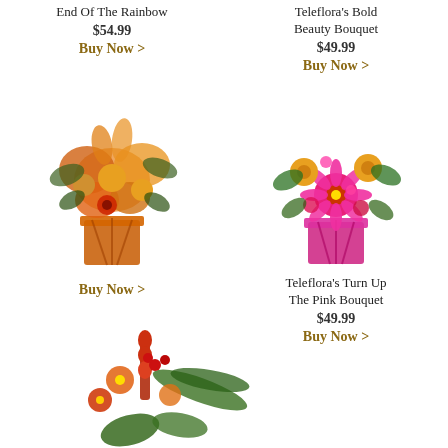End Of The Rainbow
$54.99
Buy Now >
Teleflora's Bold Beauty Bouquet
$49.99
Buy Now >
[Figure (photo): Orange flower bouquet with lilies, roses, and gerberas in an orange square vase]
[Figure (photo): Pink and orange flower bouquet with roses and gerbera daisies in a pink square vase]
Buy Now >
Teleflora's Turn Up The Pink Bouquet
$49.99
Buy Now >
[Figure (photo): Tropical flower arrangement with red and orange flowers and ferns, partially visible at bottom]